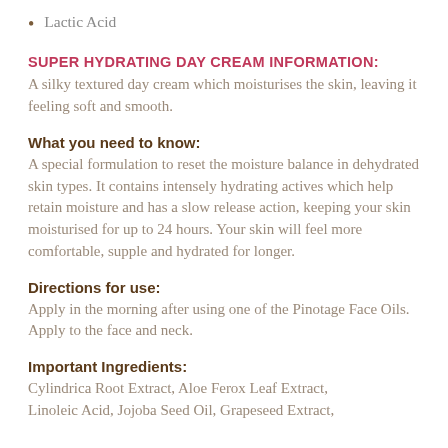Lactic Acid
SUPER HYDRATING DAY CREAM INFORMATION:
A silky textured day cream which moisturises the skin, leaving it feeling soft and smooth.
What you need to know:
A special formulation to reset the moisture balance in dehydrated skin types. It contains intensely hydrating actives which help retain moisture and has a slow release action, keeping your skin moisturised for up to 24 hours. Your skin will feel more comfortable, supple and hydrated for longer.
Directions for use:
Apply in the morning after using one of the Pinotage Face Oils.  Apply to the face and neck.
Important Ingredients:
Cylindrica Root Extract, Aloe Ferox Leaf Extract, Linoleic Acid, Jojoba Seed Oil, Grapeseed Extract,